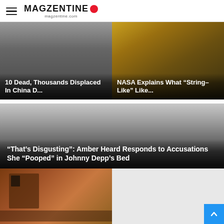MAGZENTINE magzentine.com
[Figure (photo): Dark grey gradient background representing a disaster scene - headline card left]
10 Dead, Thousands Displaced In China D...
[Figure (photo): Golden/amber underwater or aerial photo scene - NASA story card right]
NASA Explains What “String-Like” Like...
[Figure (photo): Grey gradient large card background - Amber Heard story]
“That’s Disgusting”: Amber Heard Responds to Accusations She “Pooped” in Johnny Depp’s Bed
[Figure (photo): Photo of damaged building with person in window - disaster scene bottom left]
[Figure (photo): Light grey placeholder image bottom right]